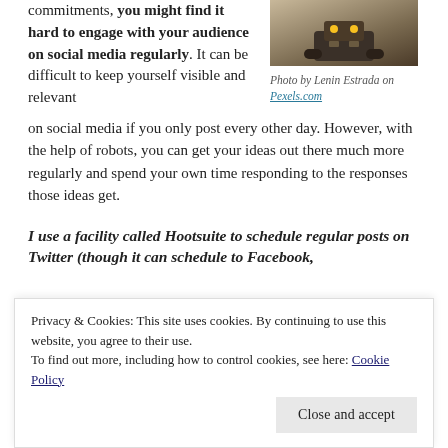commitments, you might find it hard to engage with your audience on social media regularly. It can be difficult to keep yourself visible and relevant on social media if you only post every other day. However, with the help of robots, you can get your ideas out there much more regularly and spend your own time responding to the responses those ideas get.
[Figure (photo): Photo of a robot toy/model on a light background]
Photo by Lenin Estrada on Pexels.com
I use a facility called Hootsuite to schedule regular posts on Twitter (though it can schedule to Facebook,
Privacy & Cookies: This site uses cookies. By continuing to use this website, you agree to their use. To find out more, including how to control cookies, see here: Cookie Policy